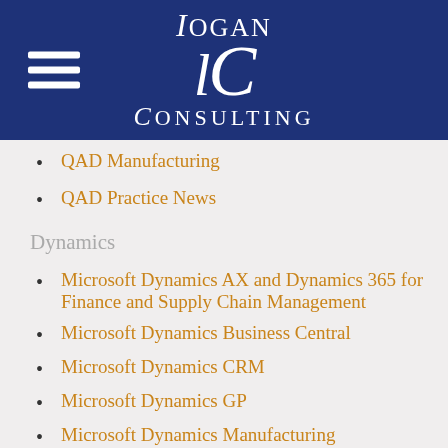[Figure (logo): Logan Consulting logo with hamburger menu icon on dark navy blue header background]
QAD Manufacturing
QAD Practice News
Dynamics
Microsoft Dynamics AX and Dynamics 365 for Finance and Supply Chain Management
Microsoft Dynamics Business Central
Microsoft Dynamics CRM
Microsoft Dynamics GP
Microsoft Dynamics Manufacturing
Strategic Consulting